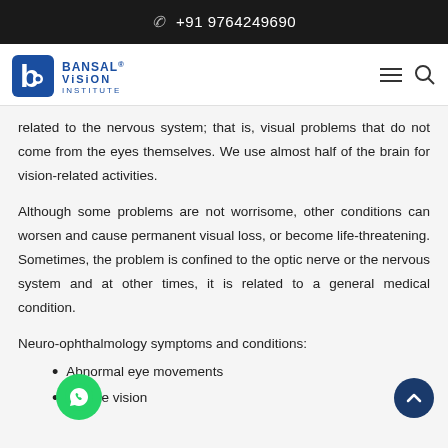☎ +91 9764249690
[Figure (logo): Bansal Vision Institute logo with stylized 'b' and eye symbol in blue]
related to the nervous system; that is, visual problems that do not come from the eyes themselves. We use almost half of the brain for vision-related activities.
Although some problems are not worrisome, other conditions can worsen and cause permanent visual loss, or become life-threatening. Sometimes, the problem is confined to the optic nerve or the nervous system and at other times, it is related to a general medical condition.
Neuro-ophthalmology symptoms and conditions:
Abnormal eye movements
Double vision